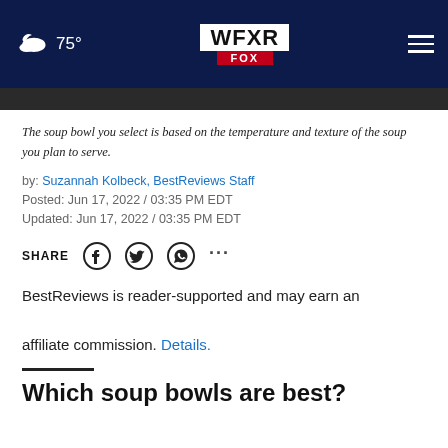75° WFXR FOX
The soup bowl you select is based on the temperature and texture of the soup you plan to serve.
by: Suzannah Kolbeck, BestReviews Staff
Posted: Jun 17, 2022 / 03:35 PM EDT
Updated: Jun 17, 2022 / 03:35 PM EDT
SHARE
BestReviews is reader-supported and may earn an affiliate commission. Details.
Which soup bowls are best?
Forget this was a placeholder text to show the bottom line